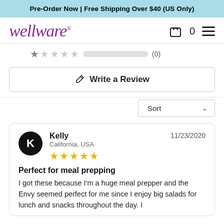Pre-Order Now | Free Shipping Over $40 (US Only)
[Figure (logo): Wellware logo in purple italic script font with registered trademark symbol]
0 (cart icon, hamburger menu)
★☆☆☆☆  (0)
✎  Write a Review
Sort ∨
Kelly
California, USA
★★★★★
Perfect for meal prepping
I got these because I'm a huge meal prepper and the Envy seemed perfect for me since I enjoy big salads for lunch and snacks throughout the day. I
11/23/2020